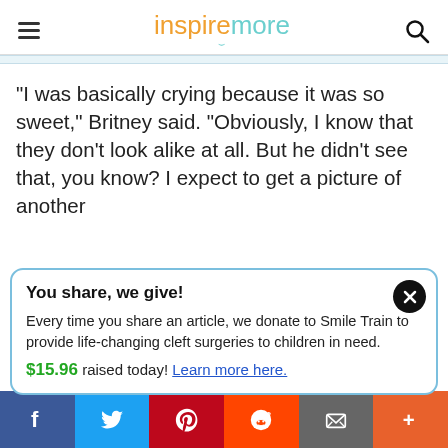inspiremore
“I was basically crying because it was so sweet,” Britney said. “Obviously, I know that they don’t look alike at all. But he didn’t see that, you know? I expect to get a picture of another
You share, we give!
Every time you share an article, we donate to Smile Train to provide life-changing cleft surgeries to children in need.
$15.96 raised today! Learn more here.
Facebook, Twitter, Pinterest, Reddit, Email, More